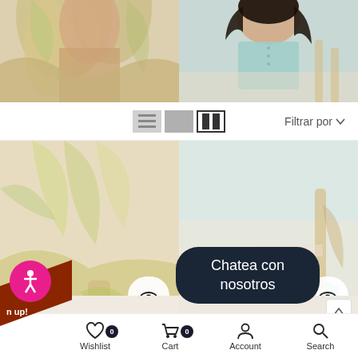[Figure (photo): Top portion of two product photos cropped at top: left shows woman in yellow/green floral maxi dress, right shows woman in mint/teal smock top]
[Figure (screenshot): Filter bar with list/grid view toggle icons and Filtrar por dropdown]
[Figure (photo): Lower portion of product photo: woman in yellow-green slit maxi dress with heels, with quick-view and cart icons]
[Figure (photo): Lower portion of product photo: woman in mint dress holding mint handbag, with quick-view and cart icons]
Seni Slit Maxi Dress
$79.99  $59.99
Jenny Smock Top
$19.99  $9.99
[Figure (screenshot): Next product row preview images partially visible at bottom]
[Figure (infographic): Pink accessibility icon button (person in circle)]
Chatea con nosotros
Wishlist   Cart   Account   Search